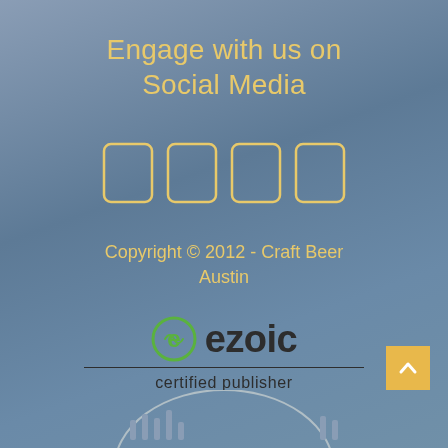Engage with us on Social Media
[Figure (illustration): Four social media icon placeholders rendered as outlined rounded rectangles in golden/yellow color]
Copyright © 2012 - Craft Beer Austin
[Figure (logo): Ezoic certified publisher logo: green circle with checkmark/e symbol, bold dark 'ezoic' text, horizontal divider line, and 'certified publisher' text below]
[Figure (illustration): Back to top arrow button — amber/yellow square with upward chevron arrow]
[Figure (illustration): Partially visible bottom logo/icon area]